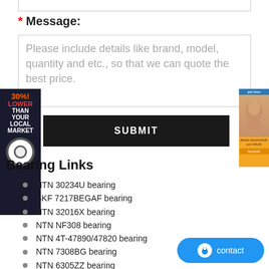* Message:
Please include details like brand, model, quantity and etc., so that we can quote the best price.
SUBMIT
Bearing Links
NTN 30234U bearing
SKF 7217BEGAF bearing
NTN 32016X bearing
NTN NF308 bearing
NTN 4T-47890/47820 bearing
NTN 7308BG bearing
NTN 6305ZZ bearing
Timken NKJ32/20 bearing
TIMKEN EE275105/275160 bearing
SKF NU209ECM bearing